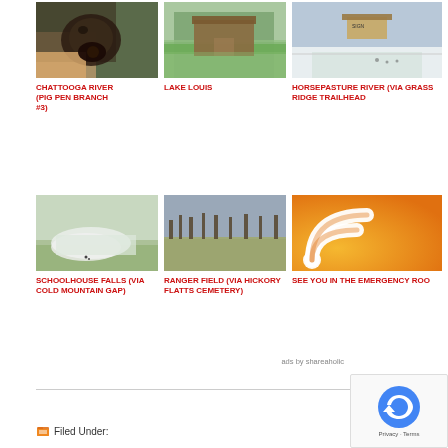[Figure (photo): Close-up of a dog's nose/face being held]
CHATTOOGA RIVER (PIG PEN BRANCH #3)
[Figure (photo): Wooden dock/cabin structure on a lake surrounded by trees]
LAKE LOUIS
[Figure (photo): Snowy trail with a sign and footprints]
HORSEPASTURE RIVER (VIA GRASS RIDGE TRAILHEAD
[Figure (photo): Snowy ground with small figures in the distance]
SCHOOLHOUSE FALLS (VIA COLD MOUNTAIN GAP)
[Figure (photo): Open field with bare trees under cloudy sky]
RANGER FIELD (VIA HICKORY FLATTS CEMETERY)
[Figure (other): RSS feed orange icon]
SEE YOU IN THE EMERGENCY ROO
ads by shareaholic
Filed Under: